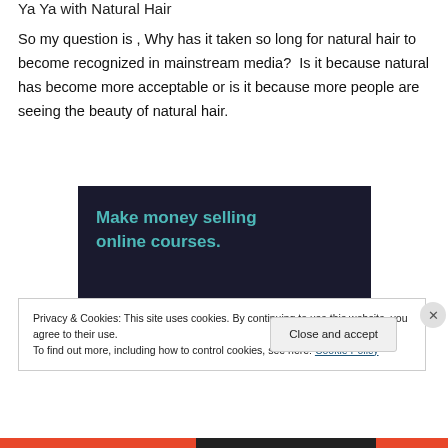Ya Ya with Natural Hair
So my question is , Why has it taken so long for natural hair to become recognized in mainstream media?  Is it because natural has become more acceptable or is it because more people are seeing the beauty of natural hair.
[Figure (screenshot): Dark background advertisement with teal text reading 'Make money selling online courses.']
Privacy & Cookies: This site uses cookies. By continuing to use this website, you agree to their use.
To find out more, including how to control cookies, see here: Cookie Policy
Close and accept